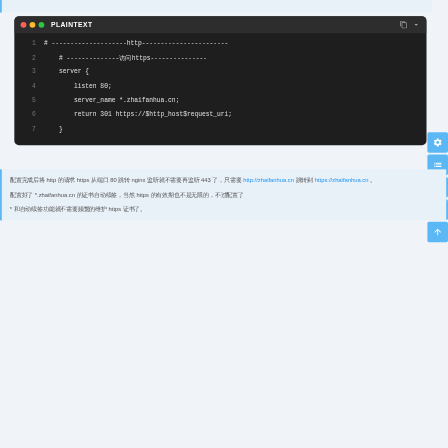[Figure (screenshot): Code editor block with dark background showing PLAINTEXT label and nginx config code with 7 lines. Traffic light dots (red, orange, green) in title bar.]
配置完成后将 http 的请求 https 从端口 80 跳转 nginx 监听就不需要再监听 443 了，只需要 http://zhaifanhua.cn 跳转到 https://zhaifanhua.cn 。配置好了 *.zhaifanhua.cn 的证书自动续签，当然 https 的有效期也不是无限的，不过配置了 * 和自动续签功能就不需要频繁的维护 https 证书了。